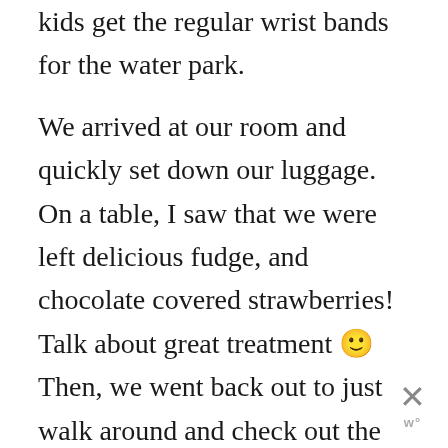kids get the regular wrist bands for the water park.
We arrived at our room and quickly set down our luggage. On a table, I saw that we were left delicious fudge, and chocolate covered strawberries! Talk about great treatment 🙂 Then, we went back out to just walk around and check out the enormous hotel and all of its fun places to see!